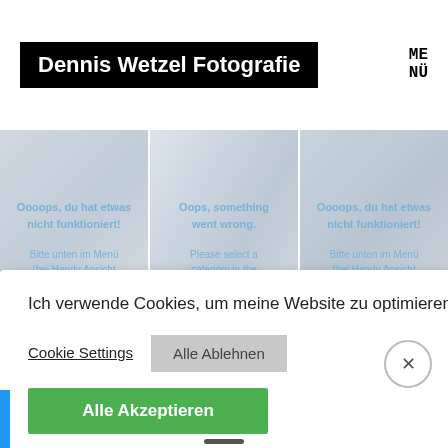Dennis Wetzel Fotografie
[Figure (screenshot): Three image panels showing error messages in German and English about selecting a category from the menu]
Ich verwende Cookies, um meine Website zu optimieren.
Cookie Settings
Alle Ablehnen
Alle Akzeptieren